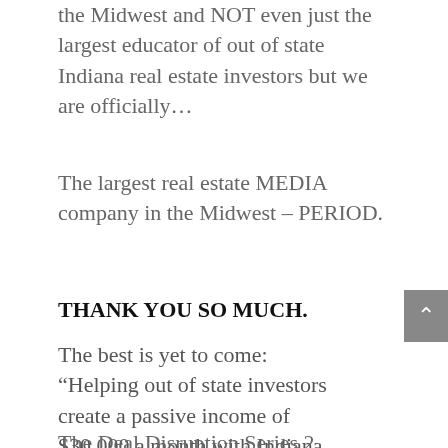the Midwest and NOT even just the largest educator of out of state Indiana real estate investors but we are officially…
The largest real estate MEDIA company in the Midwest – PERIOD.
THANK YOU SO MUCH.
The best is yet to come: “Helping out of state investors create a passive income of $30,000 a month with Indiana real estate.” Join/Spread the Movement: BigReia.com
The Deal Disruption Series 2...